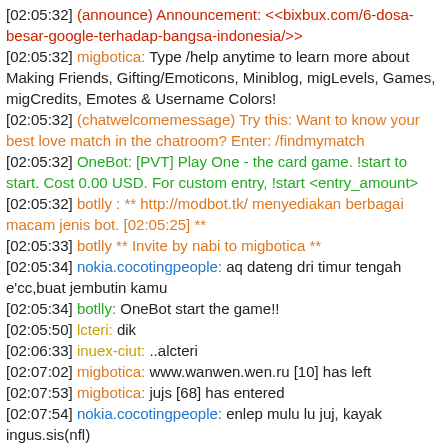[02:05:32] (announce) Announcement: <<bixbux.com/6-dosa-besar-google-terhadap-bangsa-indonesia/>>
[02:05:32] migbotica: Type /help anytime to learn more about Making Friends, Gifting/Emoticons, Miniblog, migLevels, Games, migCredits, Emotes & Username Colors!
[02:05:32] (chatwelcomemessage) Try this: Want to know your best love match in the chatroom? Enter: /findmymatch
[02:05:32] OneBot: [PVT] Play One - the card game. !start to start. Cost 0.00 USD. For custom entry, !start <entry_amount>
[02:05:32] botlly : ** http://modbot.tk/ menyediakan berbagai macam jenis bot. [02:05:25] **
[02:05:33] botlly ** Invite by nabi to migbotica **
[02:05:34] nokia.cocotingpeople: aq dateng dri timur tengah e'cc,buat jembutin kamu
[02:05:34] botlly: OneBot start the game!!
[02:05:50] lcteri: dik
[02:06:33] inuex-ciut: ..alcteri
[02:07:02] migbotica: www.wanwen.wen.ru [10] has left
[02:07:53] migbotica: jujs [68] has entered
[02:07:54] nokia.cocotingpeople: enlep mulu lu juj, kayak ingus.sis(nfl)